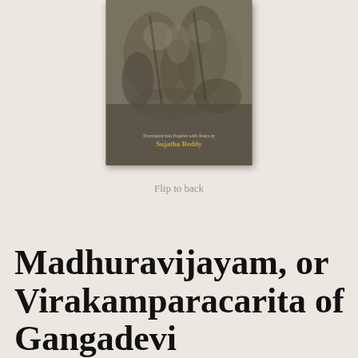[Figure (photo): Book cover of Madhuravijayam or Virakamparacarita of Gangadevi, showing ancient sculptural relief figures in dark brownish-grey tones, with text at the bottom reading 'Translated into English with Notes by Sujatha Reddy']
Flip to back
Madhuravijayam, or Virakamparacarita of Gangadevi